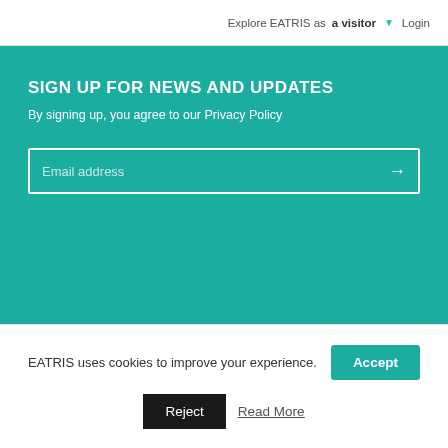Explore EATRIS as a visitor ▼ Login
SIGN UP FOR NEWS AND UPDATES
By signing up, you agree to our Privacy Policy
Email address
EATRIS ERIC
De Boelelaan 1118
1081 HZ Amsterdam
The Netherlands
T  +31 20 444 2254
E  info@eatris.eu
EATRIS uses cookies to improve your experience.
Accept
Reject
Read More